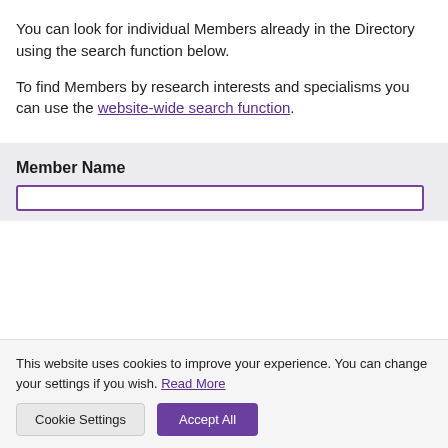You can look for individual Members already in the Directory using the search function below.
To find Members by research interests and specialisms you can use the website-wide search function.
Member Name
This website uses cookies to improve your experience. You can change your settings if you wish. Read More
Cookie Settings | Accept All